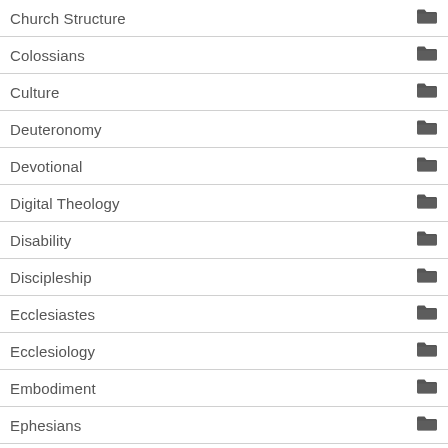Church Structure
Colossians
Culture
Deuteronomy
Devotional
Digital Theology
Disability
Discipleship
Ecclesiastes
Ecclesiology
Embodiment
Ephesians
Eschatology